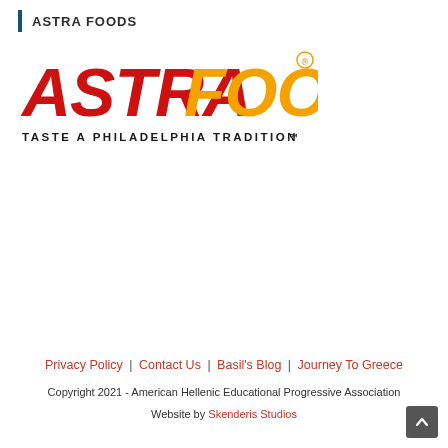ASTRA FOODS
[Figure (logo): Astra Foods logo — 'ASTRA' in red bold italic letters, 'FOODS' in orange bold letters with registered trademark symbol, tagline 'TASTE A PHILADELPHIA TRADITION™' in dark letters below]
Privacy Policy | Contact Us | Basil's Blog | Journey To Greece
Copyright 2021 - American Hellenic Educational Progressive Association
Website by Skenderis Studios